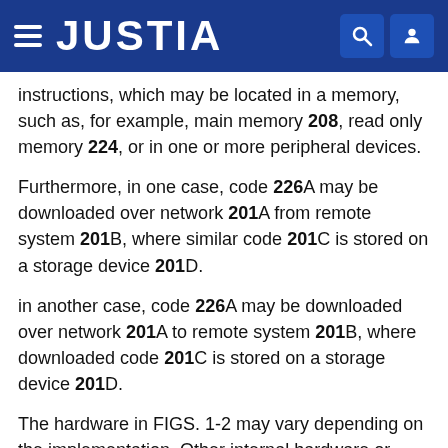JUSTIA
instructions, which may be located in a memory, such as, for example, main memory 208, read only memory 224, or in one or more peripheral devices.
Furthermore, in one case, code 226A may be downloaded over network 201A from remote system 201B, where similar code 201C is stored on a storage device 201D.
in another case, code 226A may be downloaded over network 201A to remote system 201B, where downloaded code 201C is stored on a storage device 201D.
The hardware in FIGS. 1-2 may vary depending on the implementation. Other internal hardware or peripheral devices, such as flash memory, equivalent non-volatile memory, or optical disk drives and the like, may be used